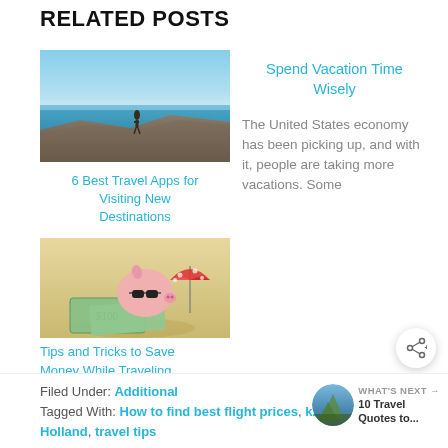RELATED POSTS
[Figure (photo): Person standing on a cliff overlooking a blue ocean and sky]
6 Best Travel Apps for Visiting New Destinations
Spend Vacation Time Wisely
The United States economy has been picking up, and with it, people are taking more vacations. Some
[Figure (photo): Piggy bank with sunglasses sitting on money bills on sand with a small umbrella]
Tips and Tricks to Save Money While Traveling
Filed Under: Additional
Tagged With: How to find best flight prices, k... Holland, travel tips